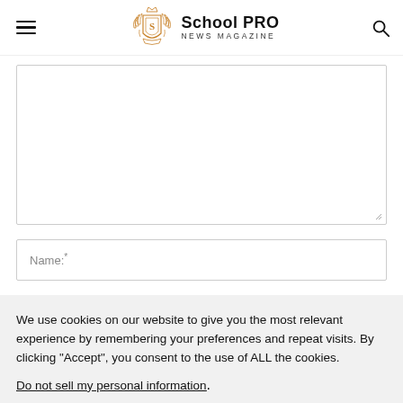School PRO NEWS MAGAZINE
[Figure (screenshot): Textarea input field (empty) with resize handle at bottom-right]
Name:*
We use cookies on our website to give you the most relevant experience by remembering your preferences and repeat visits. By clicking “Accept”, you consent to the use of ALL the cookies.
Do not sell my personal information.
Cookie Settings
Accept